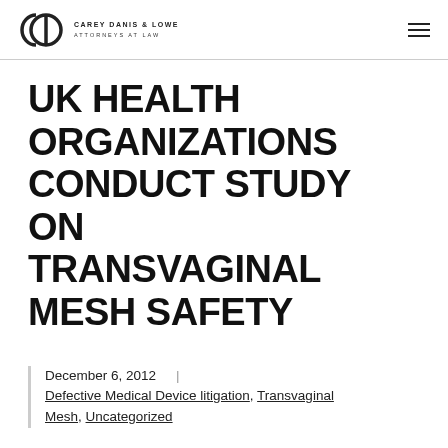CAREY DANIS & LOWE ATTORNEYS AT LAW
UK HEALTH ORGANIZATIONS CONDUCT STUDY ON TRANSVAGINAL MESH SAFETY
December 6, 2012 | Defective Medical Device litigation, Transvaginal Mesh, Uncategorized